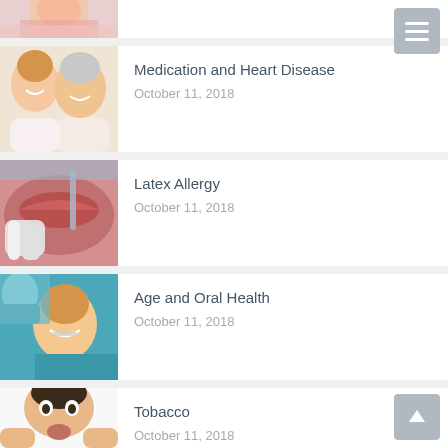[Figure (photo): Partial view of a man in pink shirt — top portion of article thumbnail]
[Figure (photo): Smiling middle-aged couple, woman and man with grey hair]
Medication and Heart Disease
October 11, 2018
[Figure (photo): Close-up of dental examination with latex gloves]
Latex Allergy
October 11, 2018
[Figure (photo): Young woman smiling at dentist in teal dental chair]
Age and Oral Health
October 11, 2018
[Figure (photo): Man with surprised/concerned expression, partial cropped view]
Tobacco
October 11, 2018